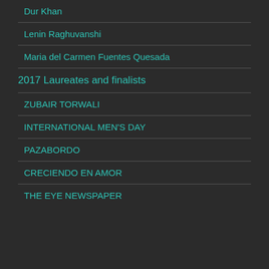Dur Khan
Lenin Raghuvanshi
Maria del Carmen Fuentes Quesada
2017 Laureates and finalists
ZUBAIR TORWALI
INTERNATIONAL MEN'S DAY
PAZABORDO
CRECIENDO EN AMOR
THE EYE NEWSPAPER